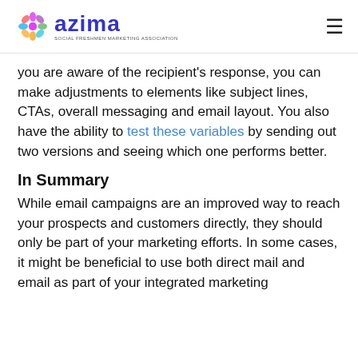azima — SOCIAL FRESHMEN MARKETING ASSOCIATION
you are aware of the recipient's response, you can make adjustments to elements like subject lines, CTAs, overall messaging and email layout. You also have the ability to test these variables by sending out two versions and seeing which one performs better.
In Summary
While email campaigns are an improved way to reach your prospects and customers directly, they should only be part of your marketing efforts. In some cases, it might be beneficial to use both direct mail and email as part of your integrated marketing